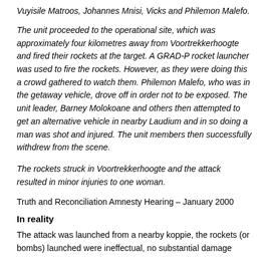Vuyisile Matroos, Johannes Mnisi, Vicks and Philemon Malefo.
The unit proceeded to the operational site, which was approximately four kilometres away from Voortrekkerhoogte and fired their rockets at the target. A GRAD-P rocket launcher was used to fire the rockets. However, as they were doing this a crowd gathered to watch them. Philemon Malefo, who was in the getaway vehicle, drove off in order not to be exposed. The unit leader, Barney Molokoane and others then attempted to get an alternative vehicle in nearby Laudium and in so doing a man was shot and injured. The unit members then successfully withdrew from the scene.
The rockets struck in Voortrekkerhoogte and the attack resulted in minor injuries to one woman.
Truth and Reconciliation Amnesty Hearing – January 2000
In reality
The attack was launched from a nearby koppie, the rockets (or bombs) launched were ineffectual, no substantial damage